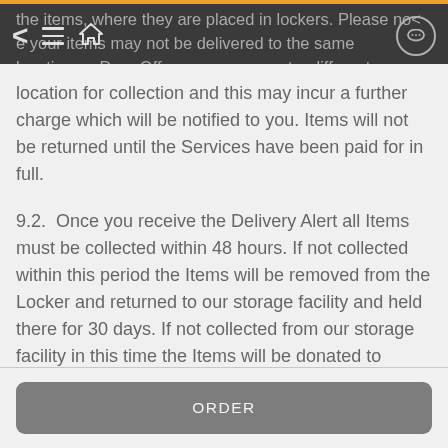the items, where they are placed in lockers. Please note your items may not be delivered to the same location as Drop Off, you may request a different location for collection and this may incur a further charge which will be notified to you. Items will not be returned until the Services have been paid for in full.
9.2.  Once you receive the Delivery Alert all Items must be collected within 48 hours. If not collected within this period the Items will be removed from the Locker and returned to our storage facility and held there for 30 days. If not collected from our storage facility in this time the Items will be donated to charity.
9.3.  We will not be liable for any loss or damage arising due to delay in completion of the Services.
ORDER